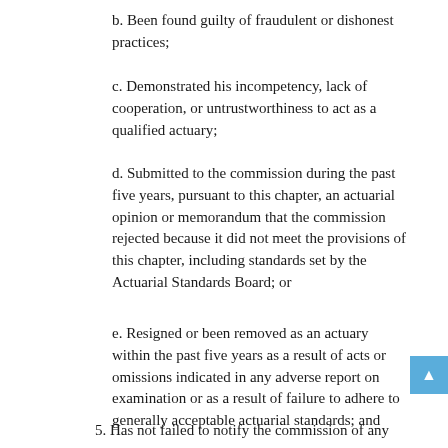b. Been found guilty of fraudulent or dishonest practices;
c. Demonstrated his incompetency, lack of cooperation, or untrustworthiness to act as a qualified actuary;
d. Submitted to the commission during the past five years, pursuant to this chapter, an actuarial opinion or memorandum that the commission rejected because it did not meet the provisions of this chapter, including standards set by the Actuarial Standards Board; or
e. Resigned or been removed as an actuary within the past five years as a result of acts or omissions indicated in any adverse report on examination or as a result of failure to adhere to generally acceptable actuarial standards; and
5. Has not failed to notify the commission of any